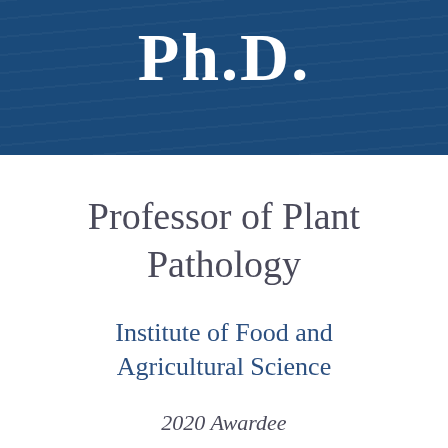Ph.D.
Professor of Plant Pathology
Institute of Food and Agricultural Science
2020 Awardee